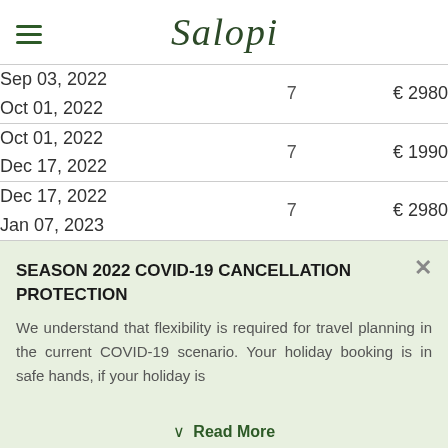Salopi (logo)
| Date Range | Nights | Price |
| --- | --- | --- |
| Sep 03, 2022
Oct 01, 2022 | 7 | € 2980 |
| Oct 01, 2022
Dec 17, 2022 | 7 | € 1990 |
| Dec 17, 2022
Jan 07, 2023 | 7 | € 2980 |
SEASON 2022 COVID-19 CANCELLATION PROTECTION
We understand that flexibility is required for travel planning in the current COVID-19 scenario. Your holiday booking is in safe hands, if your holiday is
∨ Read More